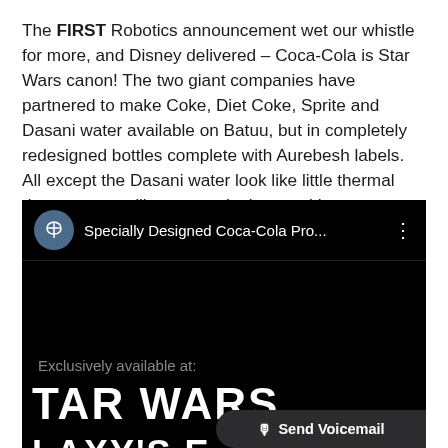The FIRST Robotics announcement wet our whistle for more, and Disney delivered – Coca-Cola is Star Wars canon! The two giant companies have partnered to make Coke, Diet Coke, Sprite and Dasani water available on Batuu, but in completely redesigned bottles complete with Aurebesh labels. All except the Dasani water look like little thermal detonators you'll want to take home with you as an official Disney Parks keepsake.
[Figure (screenshot): Screenshot of a YouTube video titled 'Specially Designed Coca-Cola Pro...' on the Disney channel, showing a video about Star Wars Galaxy's Edge Coca-Cola products. Text reads 'Exclusively available at:' followed by 'STAR WARS' and 'GALAXY'S EDGE' in large white text on black background. A 'Send Voicemail' button overlay appears in the bottom right.]